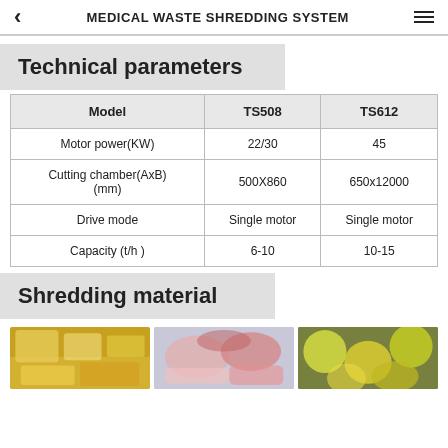MEDICAL WASTE SHREDDING SYSTEM
Technical parameters
| Model | TS508 | TS612 |
| --- | --- | --- |
| Motor power(KW) | 22/30 | 45 |
| Cutting chamber(AxB)(mm) | 500X860 | 650x12000 |
| Drive mode | Single motor | Single motor |
| Capacity (t/h ) | 6-10 | 10-15 |
Shredding material
[Figure (photo): Yellow medical waste bags/containers]
[Figure (photo): Packaged medical waste materials in plastic bags]
[Figure (photo): Yellow and green medical waste containers/bags]